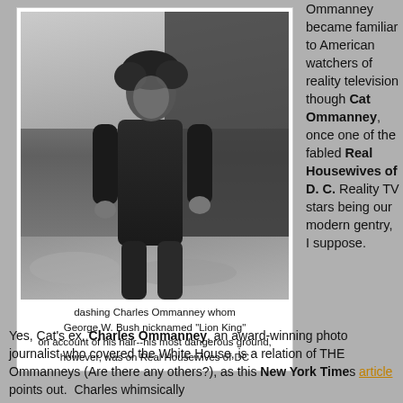[Figure (photo): Black and white photograph of Charles Ommanney, a man with curly hair wearing a dark long-sleeve shirt and jeans, standing amid rubble.]
dashing Charles Ommanney whom George W. Bush nicknamed "Lion King" on account of his hair--his most dangerous ground, however, was on Real Housewives of DC
Ommanney became familiar to American watchers of reality television though Cat Ommanney, once one of the fabled Real Housewives of D. C. Reality TV stars being our modern gentry, I suppose.  Yes, Cat's ex, Charles Ommanney, an award-winning photo journalist who covered the White House, is a relation of THE Ommanneys (Are there any others?), as this New York Times article points out.  Charles whimsically